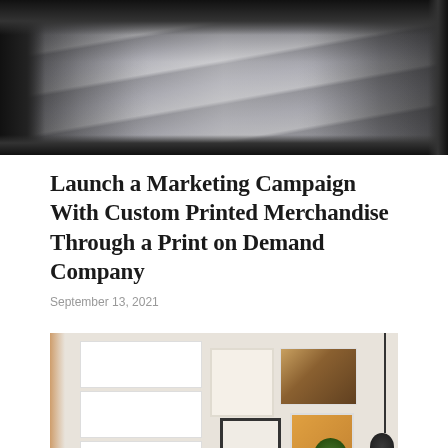[Figure (photo): Close-up photograph of a printing press machine with papers/magazines running through rollers at high speed, motion blur visible on the printed materials]
Launch a Marketing Campaign With Custom Printed Merchandise Through a Print on Demand Company
September 13, 2021
[Figure (photo): Interior room scene with white floating shelves holding books, decorative objects, and vases. Wall art frames arranged on the wall. A hanging pendant lamp on the right, plants, and warm natural light from the left side.]